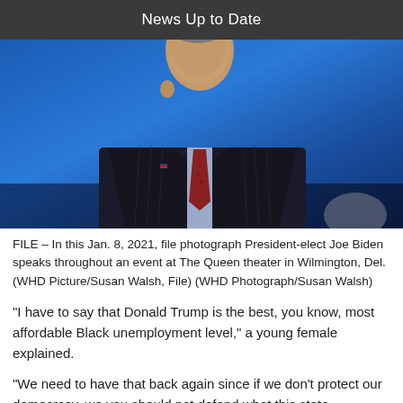News Up to Date
[Figure (photo): President-elect Joe Biden looking downward, wearing a dark pinstripe suit and red tie, against a blue background]
FILE – In this Jan. 8, 2021, file photograph President-elect Joe Biden speaks throughout an event at The Queen theater in Wilmington, Del. (WHD Picture/Susan Walsh, File) (WHD Photograph/Susan Walsh)
“I have to say that Donald Trump is the best, you know, most affordable Black unemployment level,” a young female explained.
“We need to have that back again since if we don’t protect our democracy, we you should not defend what this state